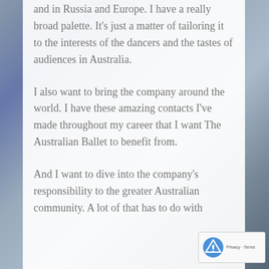and in Russia and Europe. I have a really broad palette. It’s just a matter of tailoring it to the interests of the dancers and the tastes of audiences in Australia.
I also want to bring the company around the world. I have these amazing contacts I’ve made throughout my career that I want The Australian Ballet to benefit from.
And I want to dive into the company’s responsibility to the greater Australian community. A lot of that has to do with